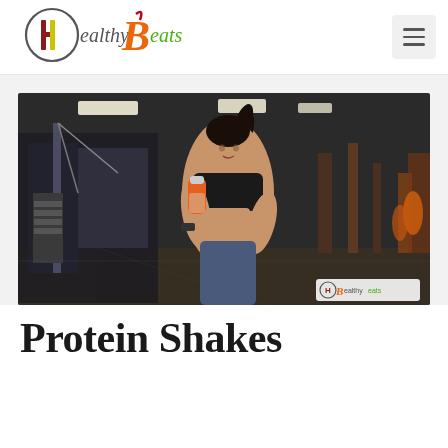[Figure (logo): Healthy Beats logo with stylized H in circle and orange B letter with green text]
[Figure (photo): Woman in black sports bra drinking from orange protein shaker bottle in a gym, fitness equipment visible in background, Healthy Beats watermark in bottom right]
Protein Shakes